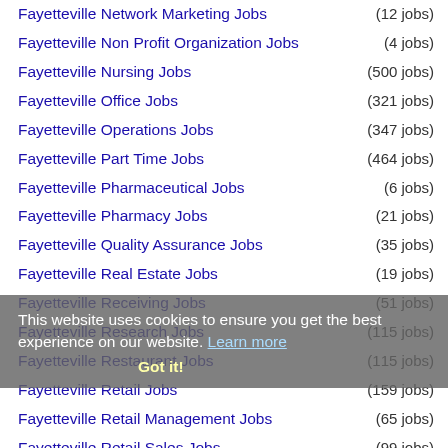Fayetteville Network Marketing Jobs (12 jobs)
Fayetteville Non Profit Organization Jobs (4 jobs)
Fayetteville Nursing Jobs (500 jobs)
Fayetteville Office Jobs (321 jobs)
Fayetteville Operations Jobs (347 jobs)
Fayetteville Part Time Jobs (464 jobs)
Fayetteville Pharmaceutical Jobs (6 jobs)
Fayetteville Pharmacy Jobs (21 jobs)
Fayetteville Quality Assurance Jobs (35 jobs)
Fayetteville Real Estate Jobs (19 jobs)
Fayetteville Receiving Jobs (51 jobs)
Fayetteville Research Jobs (115 jobs)
Fayetteville Restaurant Jobs (115 jobs)
Fayetteville Retail Jobs (159 jobs)
Fayetteville Retail Management Jobs (65 jobs)
Fayetteville Retail Sales Jobs (99 jobs)
Fayetteville Sales Jobs (290 jobs)
Fayetteville Sales Management Jobs (155 jobs)
Fayetteville Science Jobs (66 jobs)
Fayetteville Seasonal Jobs (62 jobs)
This website uses cookies to ensure you get the best experience on our website. Learn more Got it!